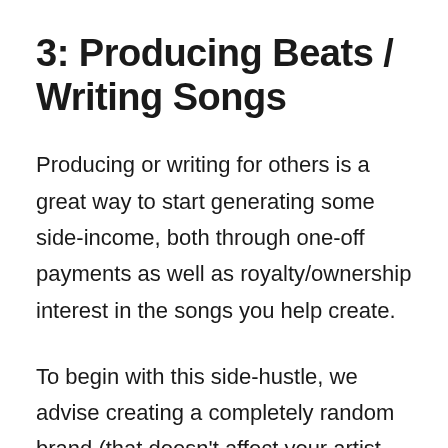3: Producing Beats / Writing Songs
Producing or writing for others is a great way to start generating some side-income, both through one-off payments as well as royalty/ownership interest in the songs you help create.
To begin with this side-hustle, we advise creating a completely random brand (that doesn't affect your artist brand), then promoting this "mystery producer" through your main artist page.